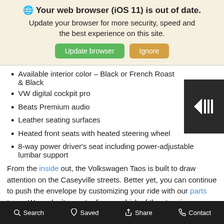🌐 Your web browser (iOS 11) is out of date. Update your browser for more security, speed and the best experience on this site.
Available interior color – Black or French Roast & Black
VW digital cockpit pro
Beats Premium audio
Leather seating surfaces
Heated front seats with heated steering wheel
8-way power driver's seat including power-adjustable lumbar support
From the inside out, the Volkswagen Taos is built to draw attention on the Caseyville streets. Better yet, you can continue to push the envelope by customizing your ride with our parts team. We make it easy to discern which of the stunning Volkswagen Taos configurations is right for you and offer a wide range of accessories to help you garner envy and praise from the entire neighborhood.
Search   Saved   Share   Contact